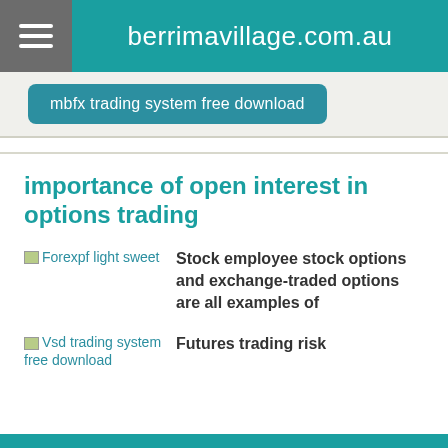berrimavillage.com.au
mbfx trading system free download
importance of open interest in options trading
Stock employee stock options and exchange-traded options are all examples of
[Figure (other): Broken image placeholder labeled 'Forexpf light sweet']
Futures trading risk
[Figure (other): Broken image placeholder labeled 'Vsd trading system free download']